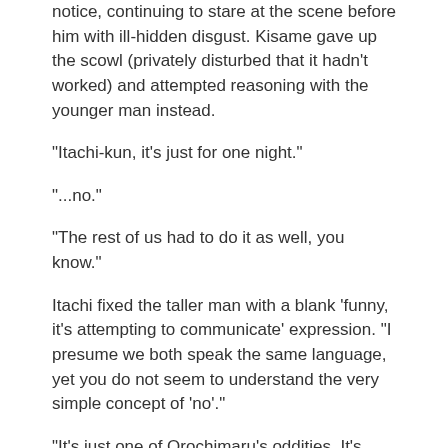notice, continuing to stare at the scene before him with ill-hidden disgust. Kisame gave up the scowl (privately disturbed that it hadn't worked) and attempted reasoning with the younger man instead.
"Itachi-kun, it's just for one night."
"...no."
"The rest of us had to do it as well, you know."
Itachi fixed the taller man with a blank 'funny, it's attempting to communicate' expression. "I presume we both speak the same language, yet you do not seem to understand the very simple concept of 'no'."
"It's just one of Orochimaru's oddities. It's really not that bad."